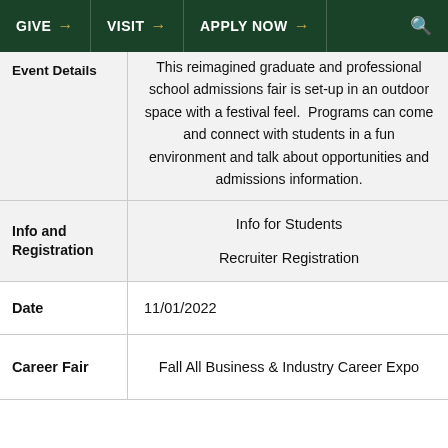GIVE → VISIT → APPLY NOW → 🔍
| Label | Value |
| --- | --- |
| Event Details | This reimagined graduate and professional school admissions fair is set-up in an outdoor space with a festival feel. Programs can come and connect with students in a fun environment and talk about opportunities and admissions information. |
| Info and Registration | Info for Students
Recruiter Registration |
| Date | 11/01/2022 |
| Career Fair | Fall All Business & Industry Career Expo |